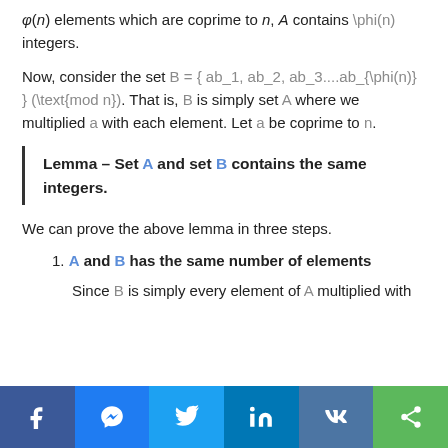φ(n) elements which are coprime to n, A contains \phi(n) integers.
Now, consider the set B = { ab_1, ab_2, ab_3....ab_{\phi(n)} } (\text{mod n}). That is, B is simply set A where we multiplied a with each element. Let a be coprime to n.
Lemma – Set A and set B contains the same integers.
We can prove the above lemma in three steps.
1. A and B has the same number of elements
Since B is simply every element of A multiplied with